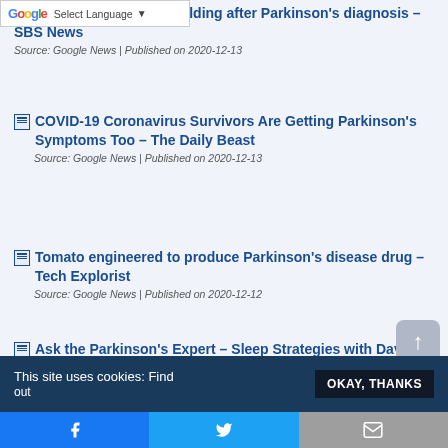Select Language
'New lease of life': Man takes up bodybuilding after Parkinson's diagnosis – SBS News | Source: Google News | Published on 2020-12-13
COVID-19 Coronavirus Survivors Are Getting Parkinson's Symptoms Too – The Daily Beast | Source: Google News | Published on 2020-12-13
Tomato engineered to produce Parkinson's disease drug – Tech Explorist | Source: Google News | Published on 2020-12-12
Ask the Parkinson's Expert – Sleep Strategies with Davis Phinney | Source: Davis Phinney Foundation | Published on 2020-12-12
This site uses cookies: Find out
OKAY, THANKS